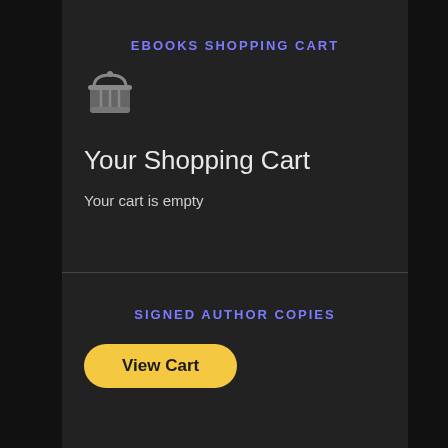EBOOKS SHOPPING CART
[Figure (illustration): Shopping basket / cart icon in gray]
Your Shopping Cart
Your cart is empty
SIGNED AUTHOR COPIES
View Cart